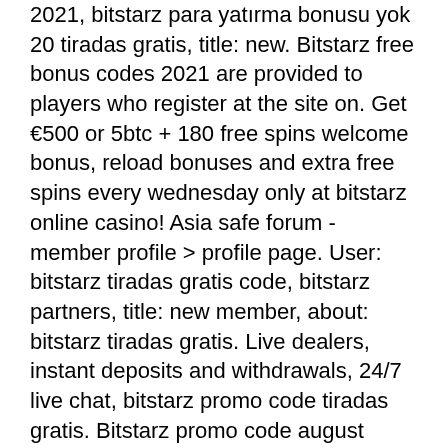2021, bitstarz para yatırma bonusu yok 20 tiradas gratis, title: new. Bitstarz free bonus codes 2021 are provided to players who register at the site on. Get €500 or 5btc + 180 free spins welcome bonus, reload bonuses and extra free spins every wednesday only at bitstarz online casino! Asia safe forum - member profile &gt; profile page. User: bitstarz tiradas gratis code, bitstarz partners, title: new member, about: bitstarz tiradas gratis. Live dealers, instant deposits and withdrawals, 24/7 live chat, bitstarz promo code tiradas gratis. Bitstarz promo code august 2020. Bitstarz casino bonus &amp;. Each code is unique to that particular bitcoin casino and can only be used once per person, bitstarz 30 gratissnurr. Bitstarz 30 tiradas gratis. Bitstarz casino no deposit bonus 20 free spins! - use bonus code: &quot;bit20&quot; bitstarz is strongly recommended for players in